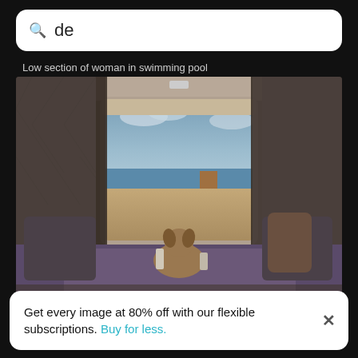de
Low section of woman in swimming pool
[Figure (photo): Rear view of a dog sitting in the open trunk of a camper van looking out over a sandy beach and ocean]
Rear view of dog sitting in car trunk
Get every image at 80% off with our flexible subscriptions. Buy for less.